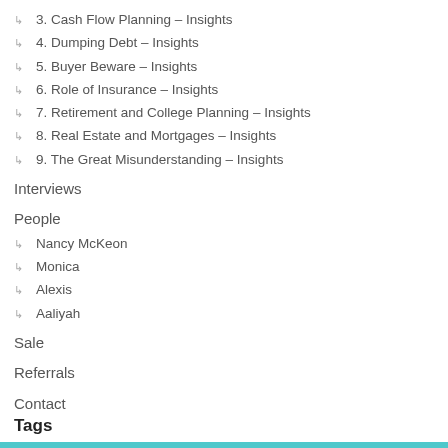3. Cash Flow Planning – Insights
4. Dumping Debt – Insights
5. Buyer Beware – Insights
6. Role of Insurance – Insights
7. Retirement and College Planning – Insights
8. Real Estate and Mortgages – Insights
9. The Great Misunderstanding – Insights
Interviews
People
Nancy McKeon
Monica
Alexis
Aaliyah
Sale
Referrals
Contact
Tags